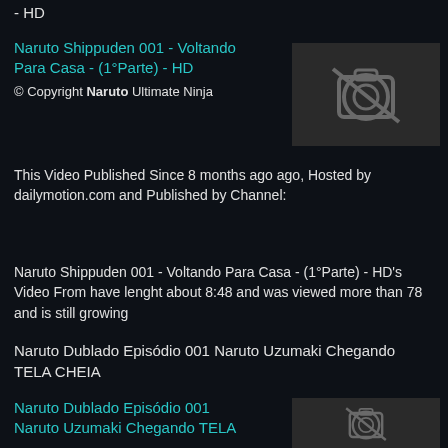- HD
Naruto Shippuden 001 - Voltando Para Casa - (1°Parte) - HD
© Copyright Naruto Ultimate Ninja
[Figure (photo): Placeholder thumbnail with camera icon]
This Video Published Since 8 months ago ago, Hosted by dailymotion.com and Published by Channel:
Naruto Shippuden 001 - Voltando Para Casa - (1°Parte) - HD's Video From have lenght about 8:48 and was viewed more than 78 and is still growing
Naruto Dublado Episódio 001 Naruto Uzumaki Chegando TELA CHEIA
Naruto Dublado Episódio 001 Naruto Uzumaki Chegando TELA
[Figure (photo): Placeholder thumbnail with camera icon]